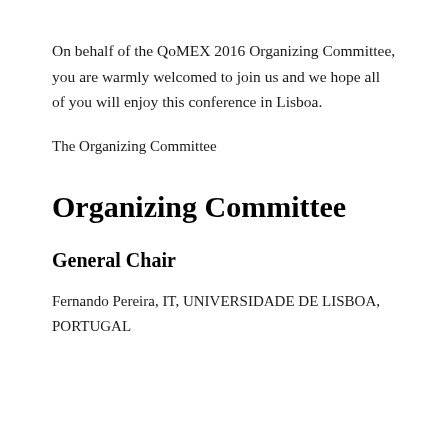On behalf of the QoMEX 2016 Organizing Committee, you are warmly welcomed to join us and we hope all of you will enjoy this conference in Lisboa.
The Organizing Committee
Organizing Committee
General Chair
Fernando Pereira, IT, UNIVERSIDADE DE LISBOA, PORTUGAL